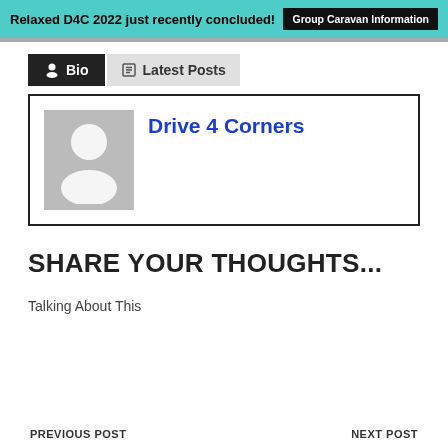Relaxed D4C 2022 just recently concluded! Group Caravan Information
Bio | Latest Posts
Drive 4 Corners
SHARE YOUR THOUGHTS...
Talking About This
PREVIOUS POST   NEXT POST